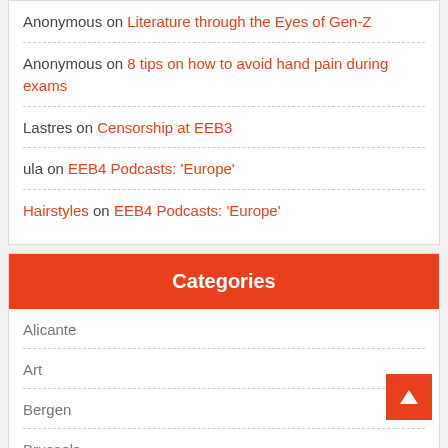Anonymous on Literature through the Eyes of Gen-Z
Anonymous on 8 tips on how to avoid hand pain during exams
Lastres on Censorship at EEB3
ula on EEB4 Podcasts: 'Europe'
Hairstyles on EEB4 Podcasts: 'Europe'
Categories
Alicante
Art
Bergen
Brussels